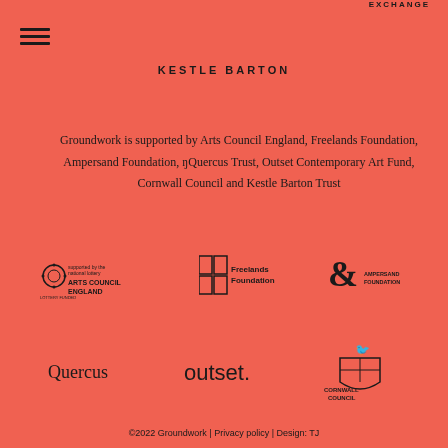EXCHANGE
KESTLE BARTON
Groundwork is supported by Arts Council England, Freelands Foundation, Ampersand Foundation, ŋQuercus Trust, Outset Contemporary Art Fund, Cornwall Council and Kestle Barton Trust
[Figure (logo): Arts Council England logo]
[Figure (logo): Freelands Foundation logo]
[Figure (logo): Ampersand Foundation logo]
[Figure (logo): Quercus logo]
[Figure (logo): outset. logo]
[Figure (logo): Cornwall Council logo]
©2022 Groundwork | Privacy policy | Design: TJ